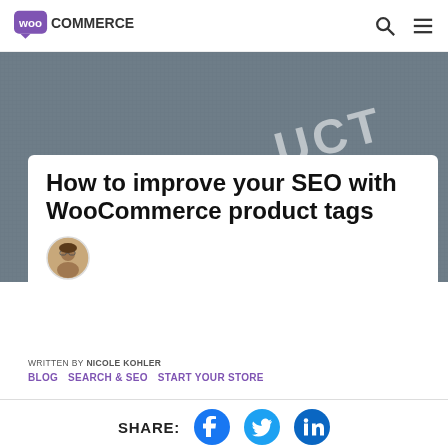WooCommerce
[Figure (photo): Close-up photo of a textured fabric/tag with embossed text reading 'PRODUCT' and 'INDIA', serving as the hero background image for the article.]
How to improve your SEO with WooCommerce product tags
WRITTEN BY NICOLE KOHLER
BLOG   SEARCH & SEO   START YOUR STORE
SHARE: